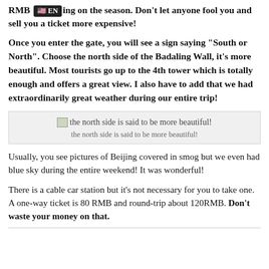RMB depending on the season. Don’t let anyone fool you and sell you a ticket more expensive!
Once you enter the gate, you will see a sign saying “South or North”. Choose the north side of the Badaling Wall, it’s more beautiful. Most tourists go up to the 4th tower which is totally enough and offers a great view. I also have to add that we had extraordinarily great weather during our entire trip!
[Figure (photo): Broken image placeholder with alt text: the north side is said to be more beautiful!]
the north side is said to be more beautiful!
Usually, you see pictures of Beijing covered in smog but we even had blue sky during the entire weekend! It was wonderful!
There is a cable car station but it’s not necessary for you to take one. A one-way ticket is 80 RMB and round-trip about 120RMB. Don’t waste your money on that.